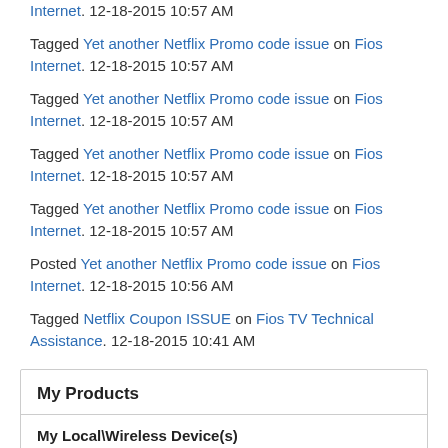Internet. 12-18-2015 10:57 AM
Tagged Yet another Netflix Promo code issue on Fios Internet. 12-18-2015 10:57 AM
Tagged Yet another Netflix Promo code issue on Fios Internet. 12-18-2015 10:57 AM
Tagged Yet another Netflix Promo code issue on Fios Internet. 12-18-2015 10:57 AM
Tagged Yet another Netflix Promo code issue on Fios Internet. 12-18-2015 10:57 AM
Posted Yet another Netflix Promo code issue on Fios Internet. 12-18-2015 10:56 AM
Tagged Netflix Coupon ISSUE on Fios TV Technical Assistance. 12-18-2015 10:41 AM
My Products
My Local\Wireless Device(s)